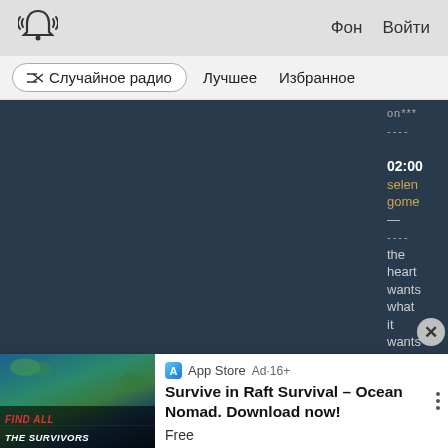((bell)) Фон Войти
Случайное радио  Лучшее  Избранное
[Figure (screenshot): Dark blue music player main area with song info on right side. Shows timestamps 02:00 and 01:56, artist selena gomez, song 'the heart wants what it wants'. White X close button at bottom right.]
[Figure (infographic): App Store advertisement for 'Survive in Raft Survival – Ocean Nomad. Download now!' with game artwork showing islands and text FIND ALL THE SURVIVORS. Labeled Ad·16+, Free.]
App Store  Ad·16+
Survive in Raft Survival – Ocean Nomad. Download now!
Free